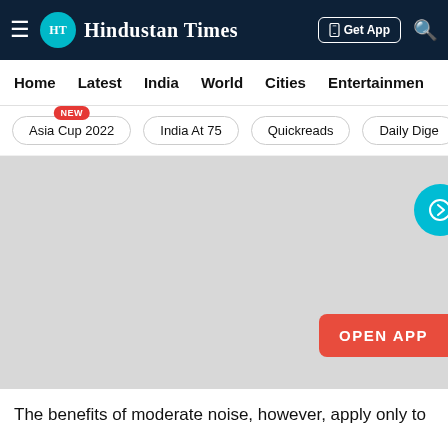Hindustan Times
Home
Latest
India
World
Cities
Entertainment
Asia Cup 2022 NEW
India At 75
Quickreads
Daily Dige
[Figure (screenshot): Gray placeholder image area with a teal circular arrow button on the right side and an orange-red OPEN APP button at the bottom right]
The benefits of moderate noise, however, apply only to